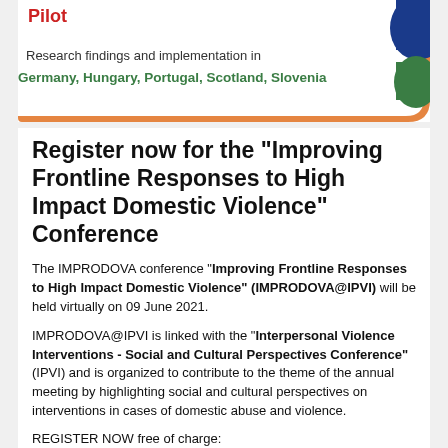[Figure (illustration): Banner image showing the word 'Pilot' in red, with text 'Research findings and implementation in Germany, Hungary, Portugal, Scotland, Slovenia' in green bold, and decorative colored shapes (blue, green) in the top-right corner with an orange curved border.]
Register now for the "Improving Frontline Responses to High Impact Domestic Violence" Conference
The IMPRODOVA conference "Improving Frontline Responses to High Impact Domestic Violence" (IMPRODOVA@IPVI) will be held virtually on 09 June 2021.
IMPRODOVA@IPVI is linked with the "Interpersonal Violence Interventions - Social and Cultural Perspectives Conference" (IPVI) and is organized to contribute to the theme of the annual meeting by highlighting social and cultural perspectives on interventions in cases of domestic abuse and violence.
REGISTER NOW free of charge:
https://www.jyu.fi/en/congress/ipvi/programme/pre-conferences/improdovai1